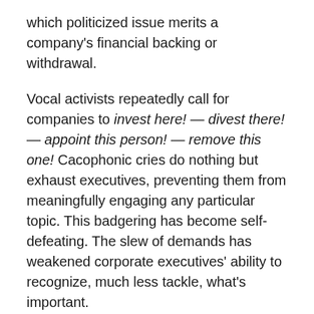which politicized issue merits a company's financial backing or withdrawal.
Vocal activists repeatedly call for companies to invest here! — divest there! — appoint this person! — remove this one! Cacophonic cries do nothing but exhaust executives, preventing them from meaningfully engaging any particular topic. This badgering has become self-defeating. The slew of demands has weakened corporate executives' ability to recognize, much less tackle, what's important.
The institutional investors who direct funds on others' behalf also have a hard time cutting through the noise. Increasingly, activists have weaponized institutional investment funds to impose an external agenda onto a private, for-profit entity with little consideration for how these moves will affect those who have invested their